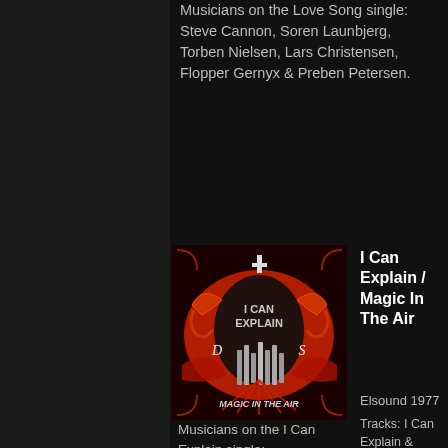Musicians on the Love Song single: Steve Cannon, Soren Launbjerg, Torben Nielsen, Lars Christensen, Flopper Gernyx & Preben Petersen.
[Figure (photo): Album cover for 'I Can Explain / Magic In The Air', dark red and black design with stylized text]
I Can Explain / Magic In The Air
Elsound 1977
Tracks: I Can Explain & Magic In The Air.
Musicians on the I Can Explain single: